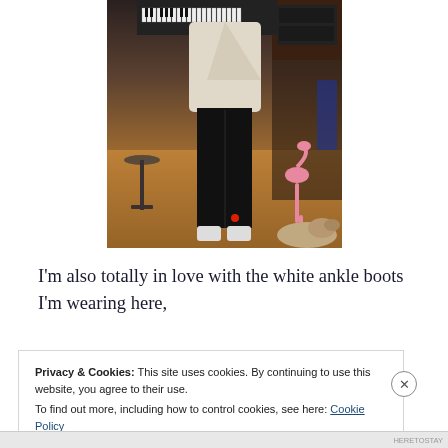[Figure (photo): A person wearing a white wrap top and black wide-leg trousers with white ankle boots, standing in a music studio with keyboards and equipment visible. A flamingo toy is visible on the right, and a dog is at the bottom right. A red laser dot is visible on the floor.]
I'm also totally in love with the white ankle boots I'm wearing here,
Privacy & Cookies: This site uses cookies. By continuing to use this website, you agree to their use.
To find out more, including how to control cookies, see here: Cookie Policy
Close and accept